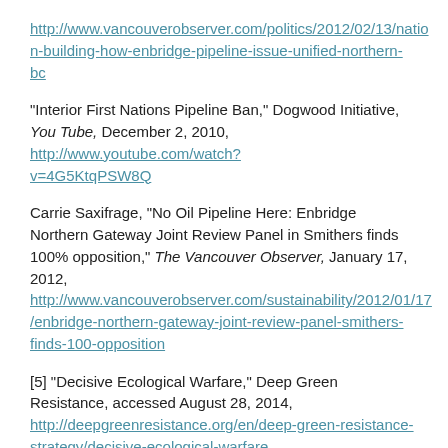http://www.vancouverobserver.com/politics/2012/02/13/nation-building-how-enbridge-pipeline-issue-unified-northern-bc
"Interior First Nations Pipeline Ban," Dogwood Initiative, You Tube, December 2, 2010, http://www.youtube.com/watch?v=4G5KtqPSW8Q
Carrie Saxifrage, "No Oil Pipeline Here: Enbridge Northern Gateway Joint Review Panel in Smithers finds 100% opposition," The Vancouver Observer, January 17, 2012, http://www.vancouverobserver.com/sustainability/2012/01/17/enbridge-northern-gateway-joint-review-panel-smithers-finds-100-opposition
[5] "Decisive Ecological Warfare," Deep Green Resistance, accessed August 28, 2014, http://deepgreenresistance.org/en/deep-green-resistance-strategy/decisive-ecological-warfare